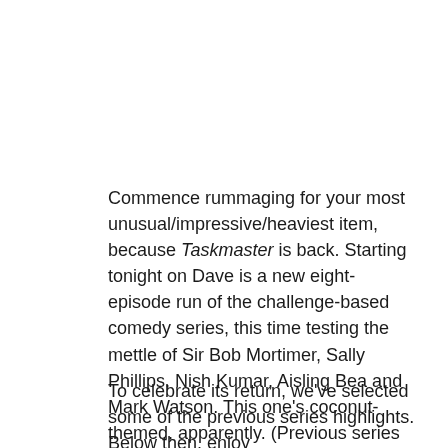Commence rummaging for your most unusual/impressive/heaviest item, because Taskmaster is back. Starting tonight on Dave is a new eight-episode run of the challenge-based comedy series, this time testing the mettle of Sir Bob Mortimer, Sally Phillips, Nish Kumar, Aisling Bea and Mark Watson. This one's coconut-themed, apparently. (Previous series have been vaguely themed around eggs, potatoes, rubber ducks and… whimsy?)
To celebrate its return, we've selected some of the previous series highlights. Below then, enjoy